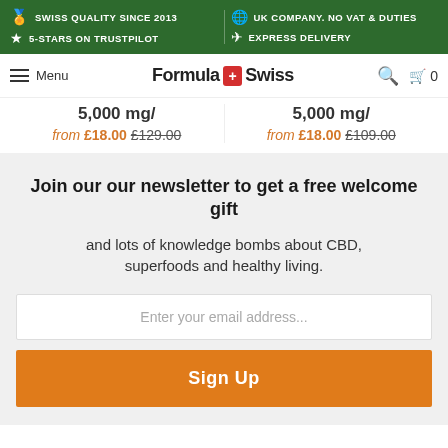SWISS QUALITY SINCE 2013 | 5-STARS ON TRUSTPILOT | UK COMPANY. NO VAT & DUTIES | EXPRESS DELIVERY
[Figure (screenshot): Formula Swiss navigation bar with hamburger menu, logo, search and cart icons]
5,000 mg/ from £18.00 £129.00 | 5,000 mg/ from £18.00 £109.00
Join our our newsletter to get a free welcome gift
and lots of knowledge bombs about CBD, superfoods and healthy living.
Enter your email address...
Sign Up